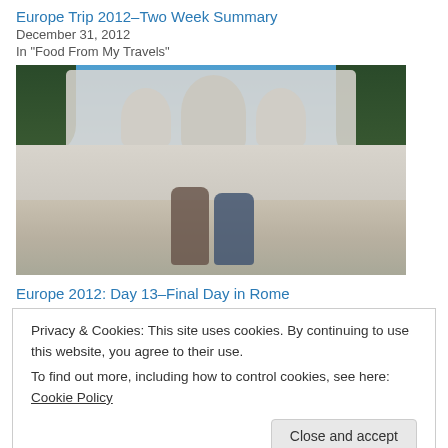Europe Trip 2012–Two Week Summary
December 31, 2012
In "Food From My Travels"
[Figure (photo): Couple sitting in front of a large classical fountain with marble statues, Rome, Italy]
Europe 2012: Day 13–Final Day in Rome
Privacy & Cookies: This site uses cookies. By continuing to use this website, you agree to their use.
To find out more, including how to control cookies, see here: Cookie Policy
Close and accept